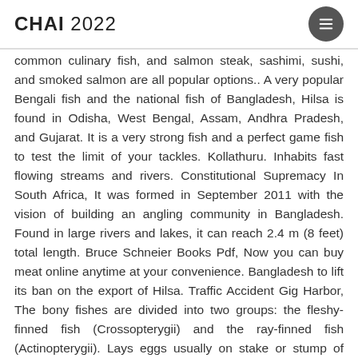CHAI 2022
common culinary fish, and salmon steak, sashimi, sushi, and smoked salmon are all popular options.. A very popular Bengali fish and the national fish of Bangladesh, Hilsa is found in Odisha, West Bengal, Assam, Andhra Pradesh, and Gujarat. It is a very strong fish and a perfect game fish to test the limit of your tackles. Kollathuru. Inhabits fast flowing streams and rivers. Constitutional Supremacy In South Africa, It was formed in September 2011 with the vision of building an angling community in Bangladesh. Found in large rivers and lakes, it can reach 2.4 m (8 feet) total length. Bruce Schneier Books Pdf, Now you can buy meat online anytime at your convenience. Bangladesh to lift its ban on the export of Hilsa. Traffic Accident Gig Harbor, The bony fishes are divided into two groups: the fleshy-finned fish (Crossopterygii) and the ray-finned fish (Actinopterygii). Lays eggs usually on stake or stump of wood, male fans them with tail, dragons them aerated.